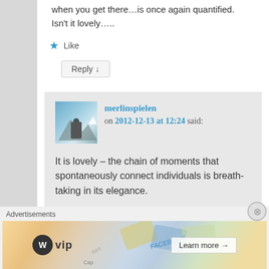when you get there…is once again quantified.
Isn't it lovely…..
★ Like
Reply ↓
merlinspielen on 2012-12-13 at 12:24 said:
It is lovely – the chain of moments that spontaneously connect individuals is breath-taking in its elegance.
[Figure (screenshot): WordPress VIP advertisement banner with 'Learn more' button]
Advertisements